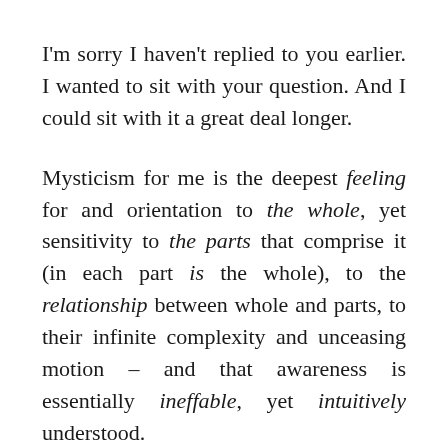I'm sorry I haven't replied to you earlier. I wanted to sit with your question. And I could sit with it a great deal longer.
Mysticism for me is the deepest feeling for and orientation to the whole, yet sensitivity to the parts that comprise it (in each part is the whole), to the relationship between whole and parts, to their infinite complexity and unceasing motion – and that awareness is essentially ineffable, yet intuitively understood.